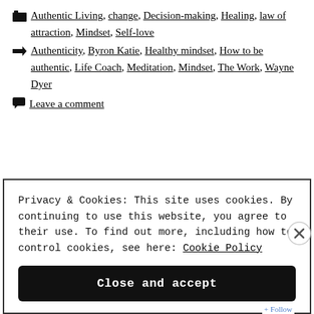📁 Authentic Living, change, Decision-making, Healing, law of attraction, Mindset, Self-love
🏷 Authenticity, Byron Katie, Healthy mindset, How to be authentic, Life Coach, Meditation, Mindset, The Work, Wayne Dyer
💬 Leave a comment
Privacy & Cookies: This site uses cookies. By continuing to use this website, you agree to their use. To find out more, including how to control cookies, see here: Cookie Policy
Close and accept